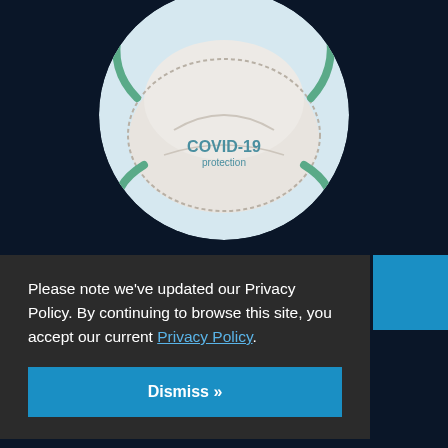[Figure (photo): A white N95/KN95 respirator mask with green straps, labeled 'COVID-19 protection', shown inside a circular crop on a dark navy background.]
Please note we've updated our Privacy Policy. By continuing to browse this site, you accept our current Privacy Policy.
Dismiss »
DEPARTMENT OF ENERGY